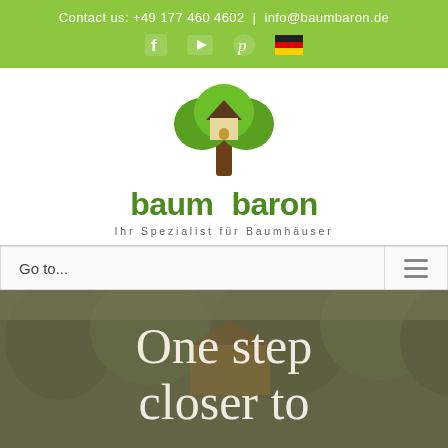Contact us: +49 177 460 4602 | info@baumbaron.de
[Figure (logo): Baum Baron treehouse company logo with tree and house icon, green text 'baum baron', tagline 'Ihr Spezialist für Baumhäuser']
Go to...
[Figure (screenshot): Hero section of Baum Baron website showing a treehouse in a forest with overlay text 'One step closer to']